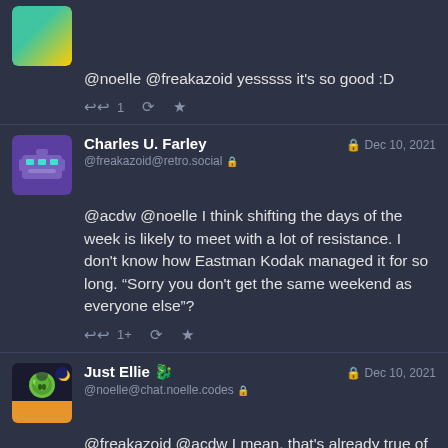@noelle @freakazoid yesssss it's so good :D
Charles U. Farley @freakazoid@retro.social Dec 10, 2021
@acdw @noelle I think shifting the days of the week is likely to meet with a lot of resistance. I don't know how Eastman Kodak managed it for so long. “Sorry you don't get the same weekend as everyone else”?
Just Ellie @noelle@chat.noelle.codes Dec 10, 2021
@freakazoid @acdw I mean, that's already true of vast swaths of working adults with non-standard work weeks...